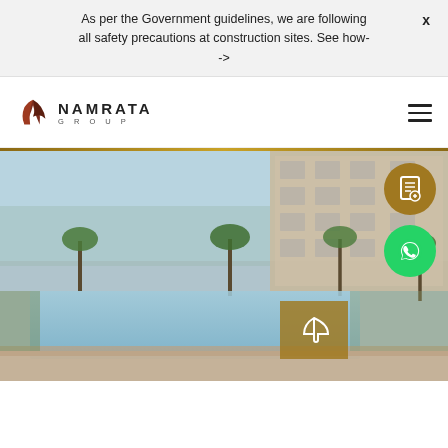As per the Government guidelines, we are following all safety precautions at construction sites. See how- ->
[Figure (logo): Namrata Group logo with stylized leaf/flame icon and text NAMRATA GROUP]
[Figure (photo): Luxury residential building with swimming pool and palm trees, outdoor pool deck area]